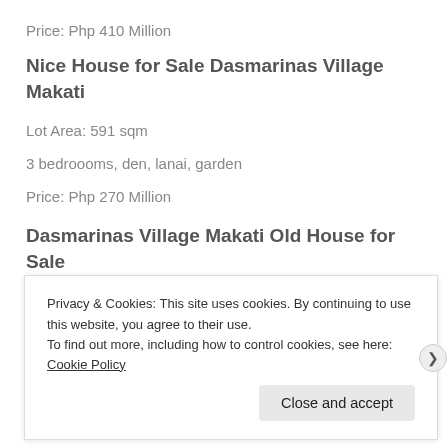Price: Php 410 Million
Nice House for Sale Dasmarinas Village Makati
Lot Area: 591 sqm
3 bedroooms, den, lanai, garden
Price: Php 270 Million
Dasmarinas Village Makati Old House for Sale
Privacy & Cookies: This site uses cookies. By continuing to use this website, you agree to their use.
To find out more, including how to control cookies, see here: Cookie Policy
Close and accept